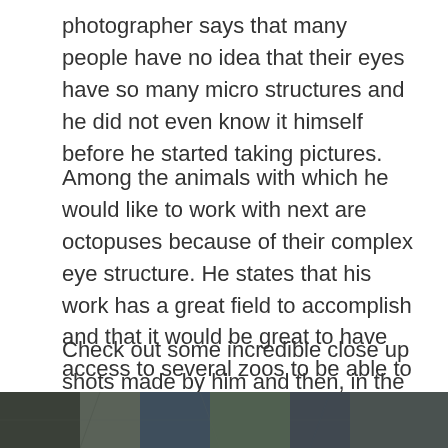photographer says that many people have no idea that their eyes have so many micro structures and he did not even know it himself before he started taking pictures.
Among the animals with which he would like to work with next are octopuses because of their complex eye structure. He states that his work has a great field to accomplish and that it would be great to have access to several zoos to be able to take more close ups shots of even more animal eyes.
Check out some incredible close up shots made by him and then, in the comments bellow, tell us what your favorite pictures are.
1. Owl Eye
[Figure (photo): Partial view of a close-up photograph of an owl eye at the bottom of the page]